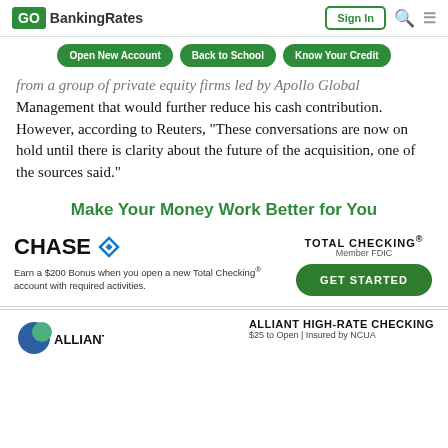GOBankingRates | Sign In
Open New Account
Back to School
Know Your Credit
from a group of private equity firms led by Apollo Global Management that would further reduce his cash contribution. However, according to Reuters, “These conversations are now on hold until there is clarity about the future of the acquisition, one of the sources said.”
Make Your Money Work Better for You
[Figure (infographic): Chase bank advertisement showing Chase logo with octagon icon, text about $200 bonus for new Total Checking account, TOTAL CHECKING Member FDIC label, and GET STARTED green button]
[Figure (infographic): Alliant bank advertisement showing Alliant logo and ALLIANT HIGH-RATE CHECKING with $25 to Open | Insured by NCUA]